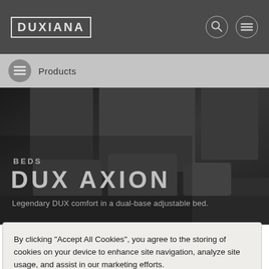DUXIANA
Products
[Figure (photo): Dark bedroom scene showing a DUX AXION bed with dark upholstered headboard panels and dark bedding/pillows]
BEDS
DUX AXION
Legendary DUX comfort in a dual-base adjustable bed.
By clicking “Accept All Cookies”, you agree to the storing of cookies on your device to enhance site navigation, analyze site usage, and assist in our marketing efforts.